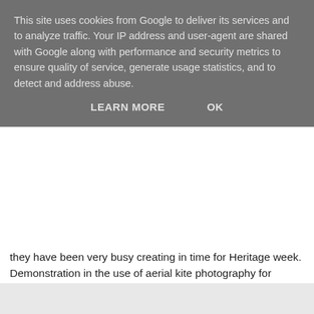This site uses cookies from Google to deliver its services and to analyze traffic. Your IP address and user-agent are shared with Google along with performance and security metrics to ensure quality of service, generate usage statistics, and to detect and address abuse.
LEARN MORE   OK
they have been very busy creating in time for Heritage week.
Demonstration in the use of aerial kite photography for surveying archaeological sites.
More info: 058 45960 or info@waterfordmuseum.ie
Gallowshill Mediaeval Fair will take place Sunday 28th August 12pm - 4pm. The results of the final 2016 archaeological surveys will be revealed on site at 3pm.  This year's surveys have been funded by The Heritage Council of Ireland.